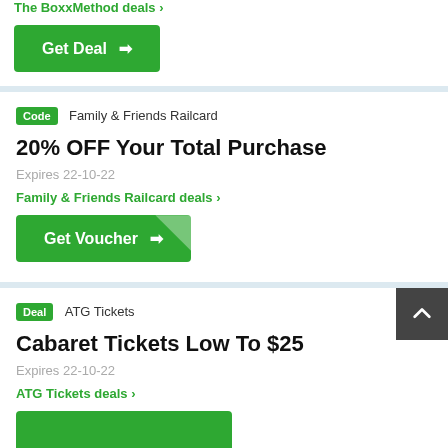The BoxxMethod deals ›
Get Deal →
Code  Family & Friends Railcard
20% OFF Your Total Purchase
Expires 22-10-22
Family & Friends Railcard deals ›
Get Voucher →
Deal  ATG Tickets
Cabaret Tickets Low To $25
Expires 22-10-22
ATG Tickets deals ›